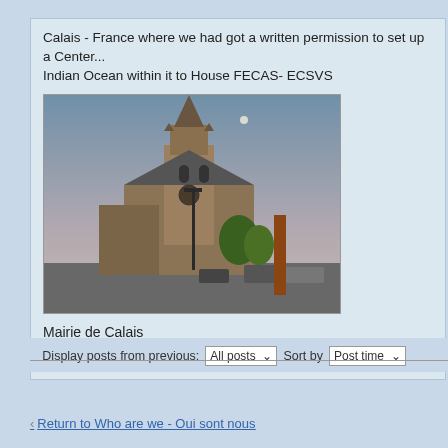Calais - France where we had got a written permission to set up a Center... Indian Ocean within it to House FECAS- ECSVS
[Figure (photo): Photograph of a Gothic church (Mairie de Calais) at dusk with a tall spire, stone facade, street lamp in foreground, and parked cars visible.]
Mairie de Calais
[Figure (photo): Broken/missing image placeholder labeled 'Image']
Display posts from previous: All posts   Sort by  Post time
POSTREPLY
Return to Who are we - Oui sont nous